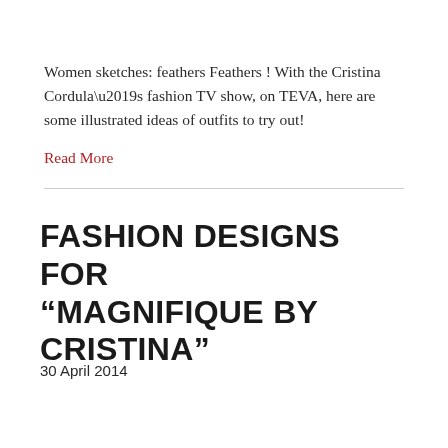Women sketches: feathers Feathers ! With the Cristina Cordula’s fashion TV show, on TEVA, here are some illustrated ideas of outfits to try out!
Read More
FASHION DESIGNS FOR “MAGNIFIQUE BY CRISTINA”
30 April 2014